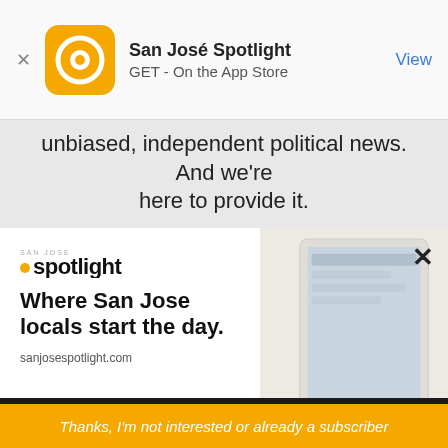[Figure (screenshot): App Store smart banner for San José Spotlight app with orange circular logo icon, app name 'San José Spotlight', subtitle 'GET - On the App Store', and blue 'View' button]
unbiased, independent political news. And we're here to provide it.
San José Spotlight is the city's first nonprofit, community-supported digital news organization.
[Figure (screenshot): San José Spotlight advertisement banner showing logo, headline 'Where San Jose locals start the day.' and URL 'sanjosespotlight.com' with tablet/device image on right]
EMAIL ADDRESS
SUBSCRIBE
Thanks, I'm not interested or already a subscriber